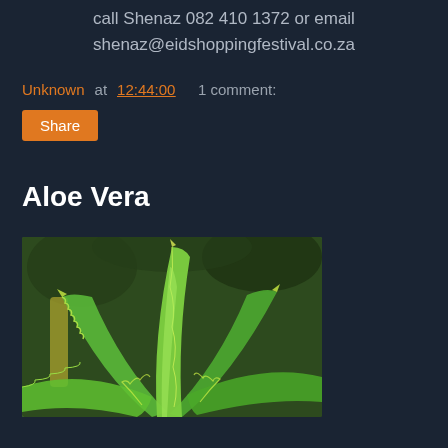call Shenaz 082 410 1372 or email shenaz@eidshoppingfestival.co.za
Unknown at 12:44:00   1 comment:
Share
Aloe Vera
[Figure (photo): Close-up photograph of an aloe vera plant with thick green spiky leaves arranged in a rosette pattern, photographed from above against a background of other plants.]